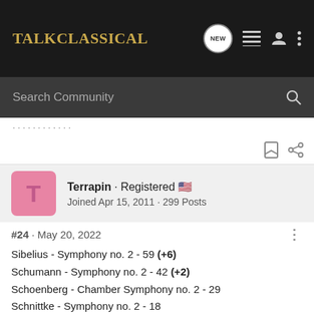Talk Classical
Search Community
Terrapin · Registered 🇺🇸 Joined Apr 15, 2011 · 299 Posts
#24 · May 20, 2022
Sibelius - Symphony no. 2 - 59 (+6)
Schumann - Symphony no. 2 - 42 (+2)
Schoenberg - Chamber Symphony no. 2 - 29
Schnittke - Symphony no. 2 - 18
Searle - Symphony no. 2 - 15
Schubert - Symphony no. 2 - 30 (+2)